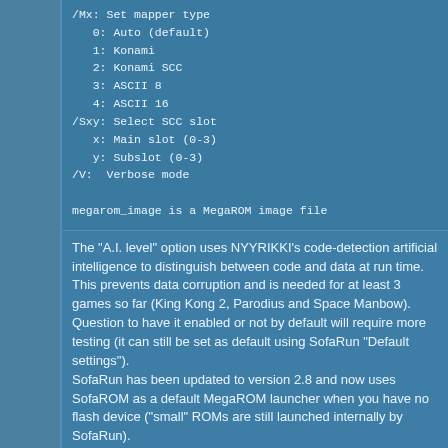/Mx: Set mapper type
   0: Auto (default)
   1: Konami
   2: Konami SCC
   3: ASCII 8
   4: ASCII 16
/Sxy: Select SCC slot
   x: Main slot (0-3)
   y: Subslot (0-3)
/V:  Verbose mode

megarom_image is a MegaROM image file
The "A.I. level" option uses NYYRIKKI's code-detection artificial intelligence to distinguish between code and data at run time. This prevents data corruption and is needed for at least 3 games so far (King Kong 2, Parodius and Space Manbow). Question to have it enabled or not by default will require more testing (it can still be set as default using SofaRun "Default settings").
SofaRun has been updated to version 2.8 and now uses SofaROM as a default MegaROM launcher when you have no flash device ("small" ROMs are still launched internally by SofaRun).
The following options (linked to the above command line